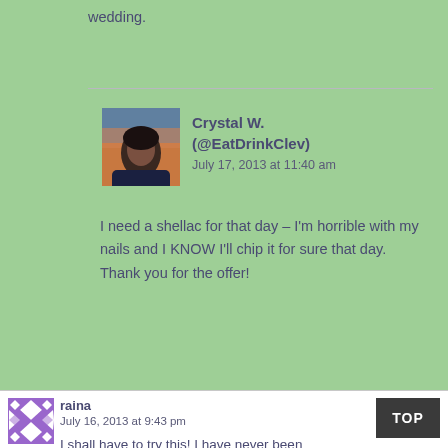wedding.
Crystal W. (@EatDrinkClev)
July 17, 2013 at 11:40 am
[Figure (photo): Profile photo of Crystal W., a woman photographed outdoors at dusk]
I need a shellac for that day – I'm horrible with my nails and I KNOW I'll chip it for sure that day. Thank you for the offer!
raina
July 16, 2013 at 9:43 pm
[Figure (illustration): Purple and white geometric diamond/chevron pattern avatar for user raina]
I shall have to try this! I have never been